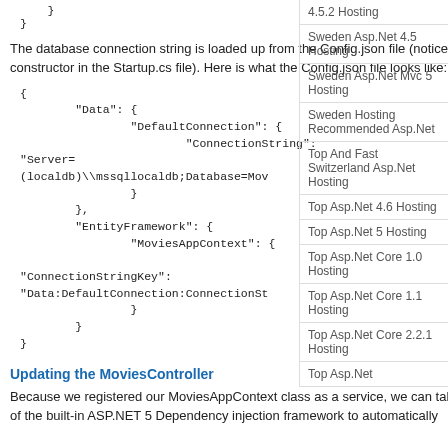}
}
The database connection string is loaded up from the Config.json file (notice the constructor in the Startup.cs file). Here is what the Config.json file looks like:
{
    "Data": {
        "DefaultConnection": {
            "ConnectionString":
"Server=(localdb)\\mssqllocaldb;Database=Mov
        }
    },
    "EntityFramework": {
        "MoviesAppContext": {
"ConnectionStringKey":
"Data:DefaultConnection:ConnectionSt
        }
    }
}
Updating the MoviesController
Because we registered our MoviesAppContext class as a service, we can take advantage of the built-in ASP.NET 5 Dependency injection framework to automatically
4.5.2 Hosting
Sweden Asp.Net 4.5 Hosting
Sweden Asp.Net Mvc 5 Hosting
Sweden Hosting Recommended Asp.Net
Top And Fast Switzerland Asp.Net Hosting
Top Asp.Net 4.6 Hosting
Top Asp.Net 5 Hosting
Top Asp.Net Core 1.0 Hosting
Top Asp.Net Core 1.1 Hosting
Top Asp.Net Core 2.2.1 Hosting
Top Asp.Net